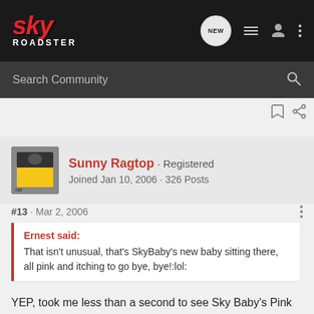SKY ROADSTER - Search Community
Sunny Ragtop · Registered
Joined Jan 10, 2006 · 326 Posts
#13 · Mar 2, 2006
Ernest said:
That isn't unusual, that's SkyBaby's new baby sitting there, all pink and itching to go bye, bye!:lol:
YEP, took me less than a second to see Sky Baby's Pink Roadster. WOOOWEEE!!